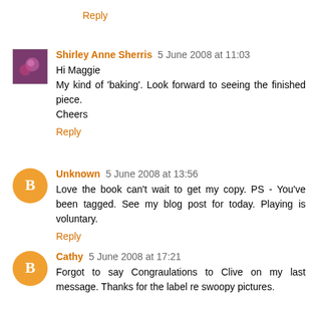Reply
Shirley Anne Sherris 5 June 2008 at 11:03
Hi Maggie
My kind of 'baking'. Look forward to seeing the finished piece.
Cheers
Reply
Unknown 5 June 2008 at 13:56
Love the book can't wait to get my copy. PS - You've been tagged. See my blog post for today. Playing is voluntary.
Reply
Cathy 5 June 2008 at 17:21
Forgot to say Congraulations to Clive on my last message. Thanks for the label re swoopy pictures.